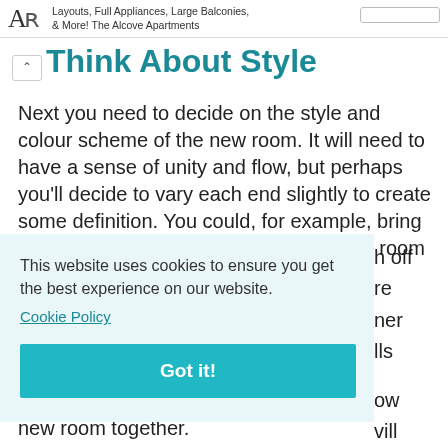Layouts, Full Appliances, Large Balconies, & More! The Alcove Apartments
Think About Style
Next you need to decide on the style and colour scheme of the new room. It will need to have a sense of unity and flow, but perhaps you'll decide to vary each end slightly to create some definition. You could, for example, bring one block of colour in down at the sitting room end... new room together.
This website uses cookies to ensure you get the best experience on our website. Cookie Policy
Got it!